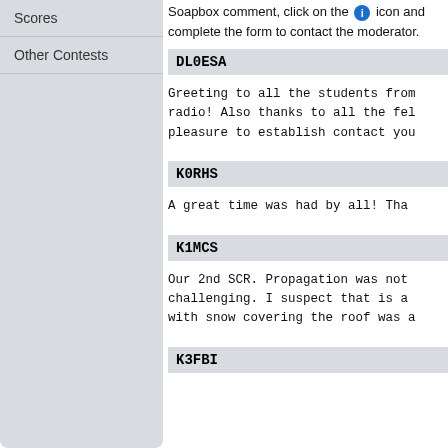Scores
Other Contests
Soapbox comment, click on the [i] icon and complete the form to contact the moderator.
DL0ESA
Greeting to all the students from radio! Also thanks to all the fel pleasure to establish contact you
K0RHS
A great time was had by all!  Tha
K1MCS
Our 2nd SCR.  Propagation was not challenging.  I suspect that is a with snow covering the roof was a
K3FBI